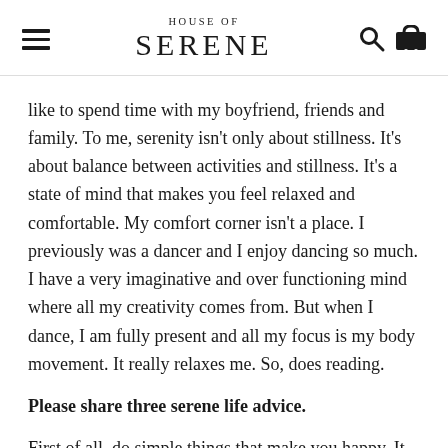HOUSE OF SERENE
like to spend time with my boyfriend, friends and family. To me, serenity isn't only about stillness. It's about balance between activities and stillness. It's a state of mind that makes you feel relaxed and comfortable. My comfort corner isn't a place. I previously was a dancer and I enjoy dancing so much. I have a very imaginative and over functioning mind where all my creativity comes from. But when I dance, I am fully present and all my focus is my body movement. It really relaxes me. So, does reading.
Please share three serene life advice.
First of all, do simple things that make you happy. It can be cooking or it can be reading. Second, look after yourself in the way you enjoy. You can put on a face mask to relax or wear a light